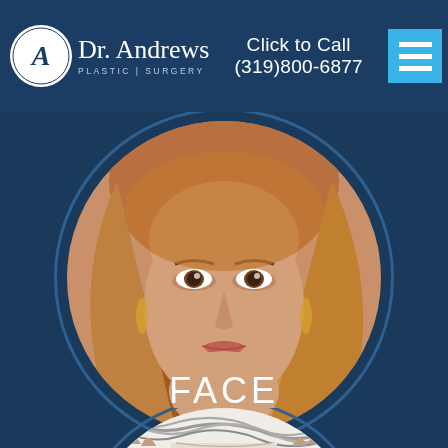Dr. Andrews Plastic Surgery — Click to Call (319)800-6877
[Figure (photo): Circular photo of a young woman with blonde/auburn wavy hair and a confident expression, representing face procedures]
FACE
[Figure (photo): Circular photo partially visible at bottom showing a person touching their hair/scalp, representing hair procedures]